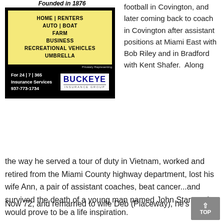[Figure (infographic): Buckeye Insurance Group advertisement. Black background with yellow section listing insurance types: HOME | RENTERS, AUTO | BOAT, FARM, BUSINESS, RECREATIONAL VEHICLES, UMBRELLA. Bottom section shows contact info: For 24|7|365 Insurance Services 937-773-1734 and Buckeye Insurance Group logo. Founded in 1876 at top.]
football in Covington, and later coming back to coach in Covington after assistant positions at Miami East with Bob Riley and in Bradford with Kent Shafer. Along the way he served a tour of duty in Vietnam, worked and retired from the Miami County highway department, lost his wife Ann, a pair of assistant coaches, beat cancer...and survived the death of a young man named John Starry, who would prove to be a life inspiration.
Now 72, and remarried to wife Deb (Placeway), he's